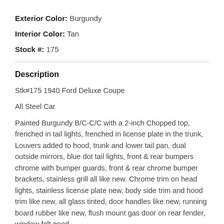Exterior Color: Burgundy
Interior Color: Tan
Stock #: 175
Description
Stk#175 1940 Ford Deluxe Coupe
All Steel Car
Painted Burgundy B/C-C/C with a 2-inch Chopped top, frenched in tail lights, frenched in license plate in the trunk, Louvers added to hood, trunk and lower tail pan, dual outside mirrors, blue dot tail lights, front & rear bumpers chrome with bumper guards, front & rear chrome bumper brackets, stainless grill all like new. Chrome trim on head lights, stainless license plate new, body side trim and hood trim like new, all glass tinted, door handles like new, running board rubber like new, flush mount gas door on rear fender, window felt good,